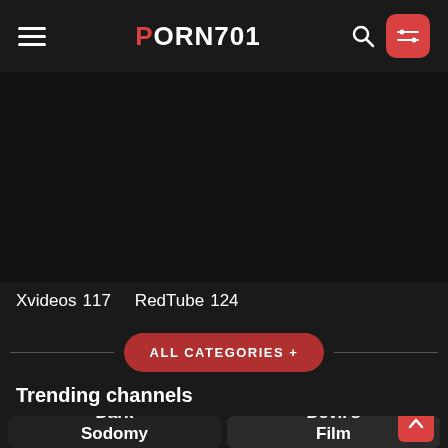PORN701
Xvideos  117  RedTube  124
ALL CATEGORIES +
Trending channels
Dark Sodomy
Devil's Film